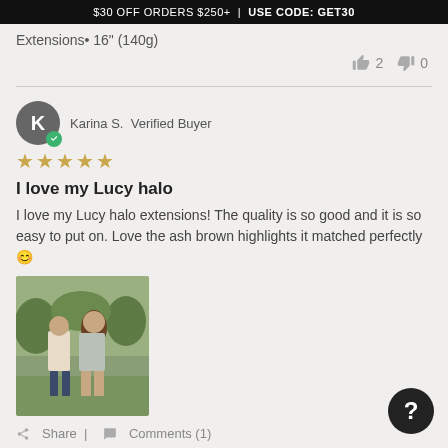$30 OFF ORDERS $250+ | USE CODE: GET30
Extensions• 16" (140g)
👍 2   👎 0
Karina S.  Verified Buyer ⭐⭐⭐⭐⭐
I love my Lucy halo
I love my Lucy halo extensions! The quality is so good and it is so easy to put on. Love the ash brown highlights it matched perfectly 😊
[Figure (photo): Photo of a couple standing outdoors on grass with greenery in background]
Share  |  Comments (1)